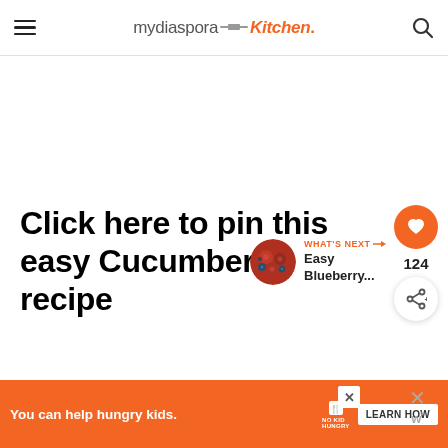mydiasporaKitchen.
Click here to pin this easy Cucumber recipe
124
WHAT'S NEXT → Easy Blueberry...
You can help hungry kids. NO KID HUNGRY LEARN HOW